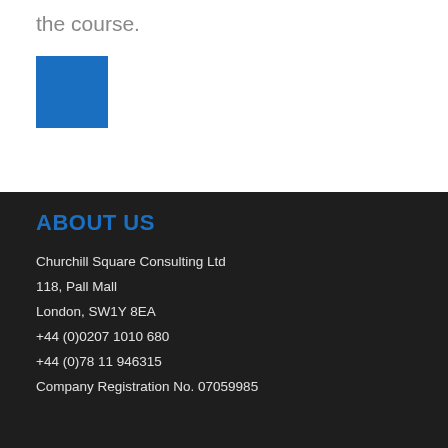the course.
[Figure (illustration): Blue square decorative element]
ABOUT US
Churchill Square Consulting Ltd
118, Pall Mall
London, SW1Y 8EA
+44 (0)0207 1010 680
+44 (0)78 11 946315
Company Registration No. 07059985